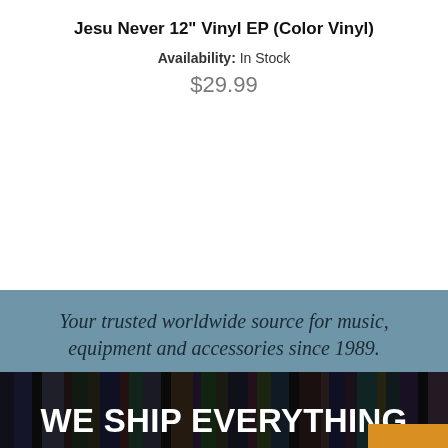Jesu Never 12" Vinyl EP (Color Vinyl)
Availability: In Stock
$29.99
Your trusted worldwide source for music, equipment and accessories since 1989.
CALL CUSTOMER SERVICE
1-800-782-3472
WE SHIP EVERYTHING with a little extra c